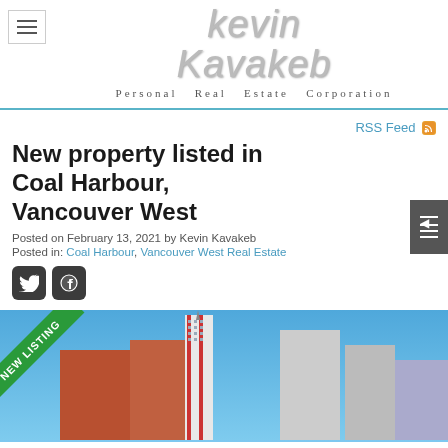[Figure (logo): Kevin Kavakeb Personal Real Estate Corporation logo with stylized text]
RSS Feed
New property listed in Coal Harbour, Vancouver West
Posted on February 13, 2021 by Kevin Kavakeb
Posted in: Coal Harbour, Vancouver West Real Estate
[Figure (photo): Photo of a tall modern condo building in Coal Harbour Vancouver with New Listing ribbon overlay]